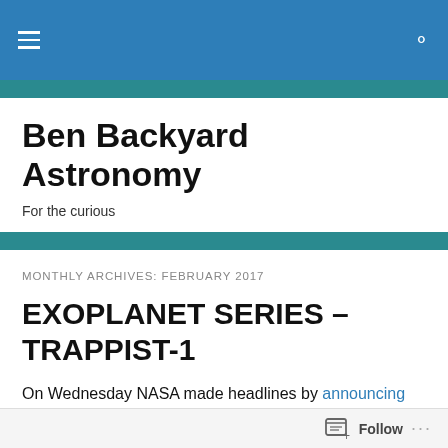Ben Backyard Astronomy
Ben Backyard Astronomy
For the curious
MONTHLY ARCHIVES: FEBRUARY 2017
EXOPLANET SERIES – TRAPPIST-1
On Wednesday NASA made headlines by announcing that researchers had detected seven exoplanets orbiting a dim dwarf star.  These exoplanets are determined, based on